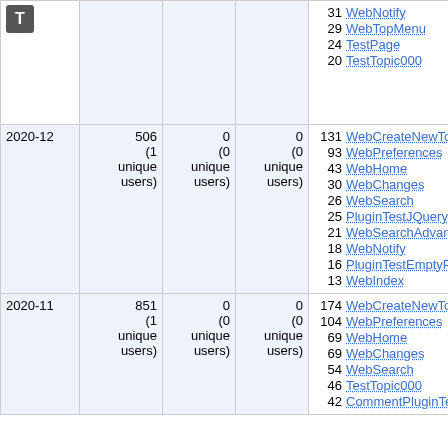|  | Views | Saves | Attachments | Top topics |
| --- | --- | --- | --- | --- |
|  |  |  |  | 31 WebNotify
29 WebTopMenu
24 TestPage
20 TestTopic000 |
| 2020-12 | 506 (1 unique users) | 0 (0 unique users) | 0 (0 unique users) | 131 WebCreateNewTopic
93 WebPreferences
43 WebHome
30 WebChanges
26 WebSearch
25 PluginTestJQueryPlugin
21 WebSearchAdvanced
18 WebNotify
16 PluginTestEmptyPlugin
13 WebIndex |
| 2020-11 | 851 (1 unique users) | 0 (0 unique users) | 0 (0 unique users) | 174 WebCreateNewTopic
104 WebPreferences
69 WebHome
69 WebChanges
54 WebSearch
46 TestTopic000
42 CommentPluginTemplate |